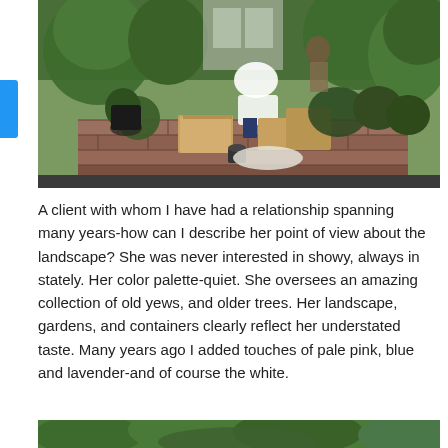[Figure (photo): Outdoor garden scene showing a person bent over arranging plants and boxes on a brick patio, surrounded by lush green shrubs and trees. Cardboard boxes and potted plants are scattered around.]
A client with whom I have had a relationship spanning many years-how can I describe her point of view about the landscape?  She was never interested in showy, always in stately.  Her color palette-quiet.  She oversees an amazing collection of old yews, and older trees. Her landscape, gardens, and containers clearly reflect her understated taste. Many years ago I added touches of pale pink, blue and lavender-and of course the white.
[Figure (photo): Partial view of a lush green garden, showing dense foliage and plants at the bottom edge of the page.]